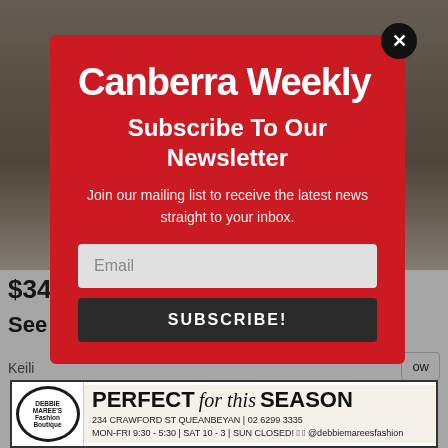[Figure (screenshot): Background webpage showing partial article with price $34, title starting with 'See', author 'Keili...', and a button partially visible]
Canberra Weekly
Subscribe To Our Newsletter
Join our mailing list to receive the latest news straight to your inbox.
[Figure (other): Email input field and SUBSCRIBE! button within newsletter modal]
[Figure (other): Advertisement banner for Debbie Maree's Fashion Boutique: PERFECT for this SEASON. 234 Crawford St Queanbeyan | 02 6299 3335. MON-FRI 9:30 - 5:30 | SAT 10 - 3 | SUN CLOSED! Facebook Instagram @debbiemarееsfashion]